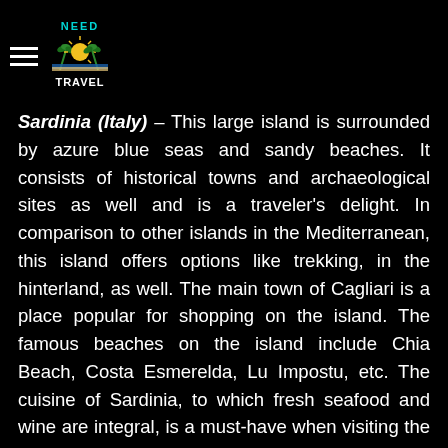NEED TO TRAVEL [logo]
Sardinia (Italy) – This large island is surrounded by azure blue seas and sandy beaches. It consists of historical towns and archaeological sites as well and is a traveler's delight. In comparison to other islands in the Mediterranean, this island offers options like trekking, in the hinterland, as well. The main town of Cagliari is a place popular for shopping on the island. The famous beaches on the island include Chia Beach, Costa Esmerelda, Lu Impostu, etc. The cuisine of Sardinia, to which fresh seafood and wine are integral, is a must-have when visiting the island.
These are just four of the many more islands which can be found in the Mediterranean region which offer simply magical experiences. Consult a travel expert so that they can help you with the destination you would